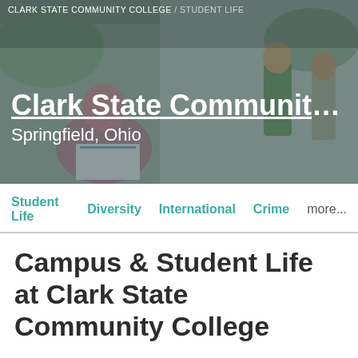CLARK STATE COMMUNITY COLLEGE / STUDENT LIFE
[Figure (photo): College students on campus, a woman studying with a notebook in foreground, students walking in background]
Clark State Community C...
Springfield, Ohio
Student Life   Diversity   International   Crime   more...
Campus & Student Life at Clark State Community College
Home to about 5,704 undergraduates in 2019,